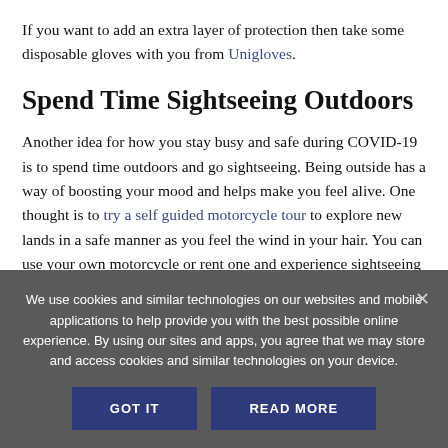If you want to add an extra layer of protection then take some disposable gloves with you from Unigloves.
Spend Time Sightseeing Outdoors
Another idea for how you stay busy and safe during COVID-19 is to spend time outdoors and go sightseeing. Being outside has a way of boosting your mood and helps make you feel alive. One thought is to try a self guided motorcycle tour to explore new lands in a safe manner as you feel the wind in your hair. You can use your own motorcycle or rent one and experience sightseeing
We use cookies and similar technologies on our websites and mobile applications to help provide you with the best possible online experience. By using our sites and apps, you agree that we may store and access cookies and similar technologies on your device.